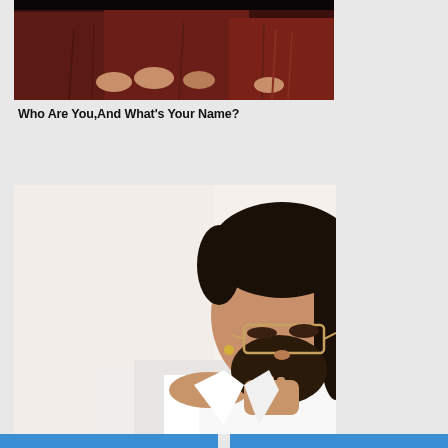[Figure (photo): Photo of people in dark reddish-maroon traditional clothing seated together, hands visible, cropped to torso level.]
Who Are You,And What's Your Name?
[Figure (photo): Photo of a bearded man with glasses wearing a white shirt, resting his chin on his hand in a thoughtful pose against a light background.]
Diamond's Are A Boy's Best Friend!
[Figure (other): Partial bottom strip showing blue and light colored sections at the bottom of the page.]